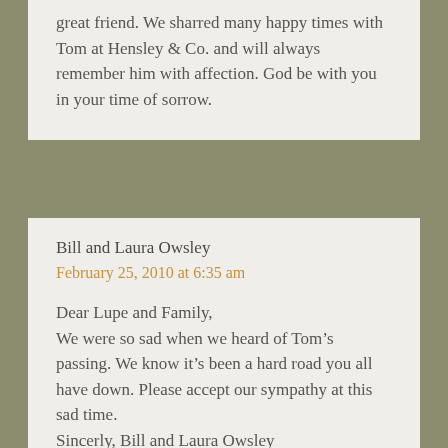great friend. We sharred many happy times with Tom at Hensley & Co. and will always remember him with affection. God be with you in your time of sorrow.
Bill and Laura Owsley
February 25, 2010 at 6:35 am
Dear Lupe and Family,
We were so sad when we heard of Tom's passing. We know it's been a hard road you all have down. Please accept our sympathy at this sad time.
Sincerly, Bill and Laura Owsley